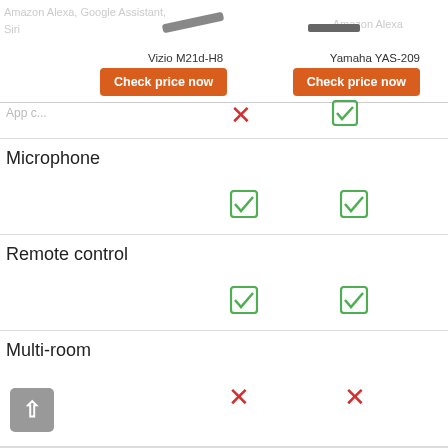Amazon Alexa, Google Assistant, Siri
Amazon Alexa
Vizio M21d-H8
Yamaha YAS-209
Check price now
Check price now
App control
| Feature | Vizio M21d-H8 | Yamaha YAS-209 |
| --- | --- | --- |
| App control | ✗ | ✓ |
| Microphone | ✓ | ✓ |
| Remote control | ✓ | ✓ |
| Multi-room | ✗ | ✗ |